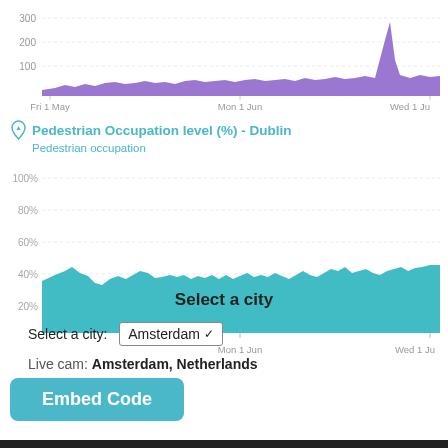[Figure (area-chart): Purple area chart spanning Fri 1 May to Wed 1 Jul, with values mostly around 60-80, spiking to ~280 near the end. Y-axis: 100, 200, 300. X-axis labels: Fri 1 May, Mon 1 Jun, Wed 1 Ju.]
Pedestrian Occupation level (%) - Dublin
Pedestrian occupation
[Figure (area-chart): Teal/cyan area chart from Mon 1 Jun to Wed 1 Jul. Y-axis: 20%, 40%, 60%, 80%, 100%. Area fluctuates between roughly 35%-55%, starting around 37% and ending around 50%.]
Embed Code
Select a city
Select a city: Amsterdam
Live cam: Amsterdam, Netherlands